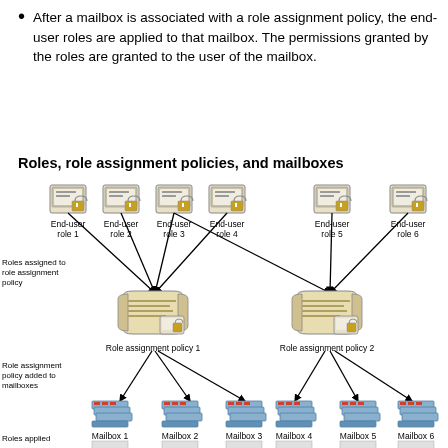After a mailbox is associated with a role assignment policy, the end-user roles are applied to that mailbox. The permissions granted by the roles are granted to the user of the mailbox.
Roles, role assignment policies, and mailboxes
[Figure (flowchart): Diagram showing end-user roles 1-6 assigned to two role assignment policies, which are then added to mailboxes 1-6. Roles assigned to role assignment policy labels and Role assignment policy added to mailboxes labels on the left. At the bottom: Roles applied row partially visible.]